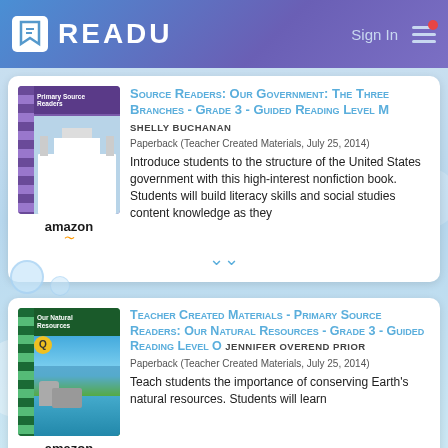READU
[Figure (screenshot): Book card for 'Source Readers: Our Government: The Three Branches - Grade 3 - Guided Reading Level M' by Shelly Buchanan. Shows book cover with image of government building, Amazon label, and partial description.]
Source Readers: Our Government: The Three Branches - Grade 3 - Guided Reading Level M
SHELLY BUCHANAN
Paperback (Teacher Created Materials, July 25, 2014)
Introduce students to the structure of the United States government with this high-interest nonfiction book. Students will build literacy skills and social studies content knowledge as they
[Figure (screenshot): Book card for 'Teacher Created Materials - Primary Source Readers: Our Natural Resources - Grade 3 - Guided Reading Level O' by Jennifer Overend Prior. Shows book cover with nature image, Amazon label, and partial description.]
Teacher Created Materials - Primary Source Readers: Our Natural Resources - Grade 3 - Guided Reading Level O
JENNIFER OVEREND PRIOR
Paperback (Teacher Created Materials, July 25, 2014)
Teach students the importance of conserving Earth's natural resources. Students will learn